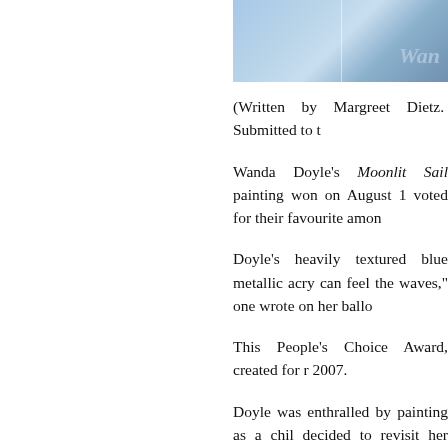[Figure (photo): A blue metallic painting (Moonlit Sail), split into two panels, with a watermark text 'Wanda' visible in the lower right area.]
(Written by Margreet Dietz.  Submitted to t
Wanda Doyle's Moonlit Sail painting won on August 1 voted for their favourite amon
Doyle's heavily textured blue metallic acry can feel the waves," one wrote on her ballo
This People's Choice Award, created for r 2007.
Doyle was enthralled by painting as a chil decided to revisit her childhood passion w home she bought materials and set about cr
Doyle, an active VISUALS volunteer for Canadian Artists. In May 2007 she won the